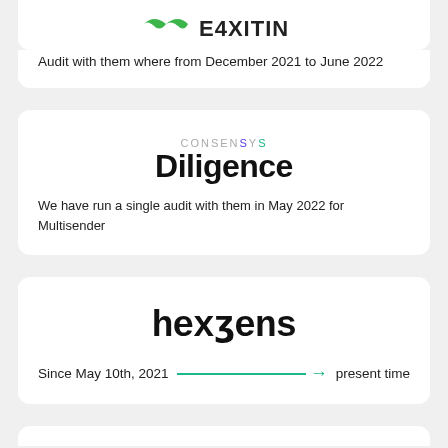[Figure (logo): E4XITIN logo with green mustache/swoosh icon and stylized text]
Audit with them where from December 2021 to June 2022
[Figure (logo): ConsenSys Diligence logo]
We have run a single audit with them in May 2022 for Multisender
[Figure (logo): Hexens logo in monospace font]
Since May 10th, 2021 → present time